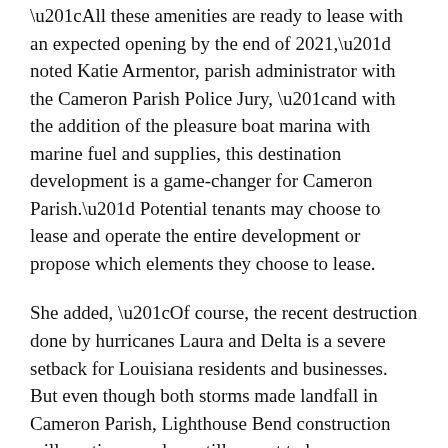“All these amenities are ready to lease with an expected opening by the end of 2021,” noted Katie Armentor, parish administrator with the Cameron Parish Police Jury, “and with the addition of the pleasure boat marina with marine fuel and supplies, this destination development is a game-changer for Cameron Parish.” Potential tenants may choose to lease and operate the entire development or propose which elements they choose to lease.
She added, “Of course, the recent destruction done by hurricanes Laura and Delta is a severe setback for Louisiana residents and businesses. But even though both storms made landfall in Cameron Parish, Lighthouse Bend construction will continue, and we still expect to have our restaurant move-in ready by the end of 2021.”
According to Jessica Wickett, VP of External Affairs for Venture Global, “It’s important to contribute more to Cameron than energy infrastructure. We want to encourage other businesses